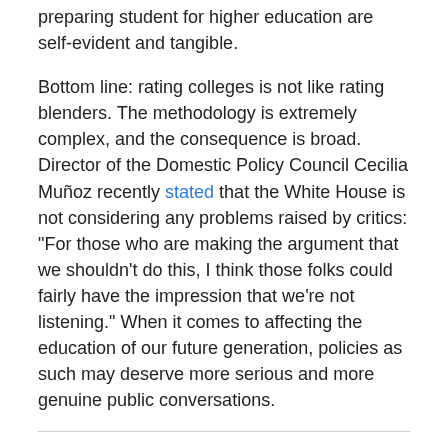preparing student for higher education are self-evident and tangible.
Bottom line: rating colleges is not like rating blenders. The methodology is extremely complex, and the consequence is broad. Director of the Domestic Policy Council Cecilia Muñoz recently stated that the White House is not considering any problems raised by critics: “For those who are making the argument that we shouldn’t do this, I think those folks could fairly have the impression that we’re not listening.” When it comes to affecting the education of our future generation, policies as such may deserve more serious and more genuine public conversations.
Share this:
[Figure (other): Tweet and Share buttons for social media sharing]